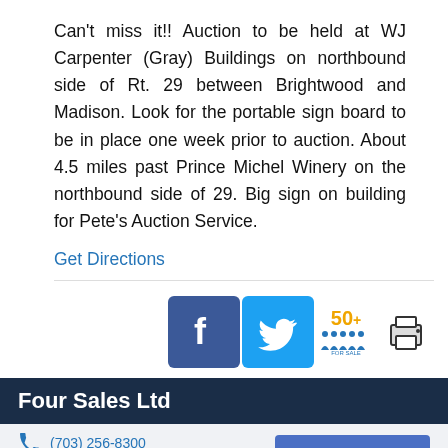Can't miss it!! Auction to be held at WJ Carpenter (Gray) Buildings on northbound side of Rt. 29 between Brightwood and Madison. Look for the portable sign board to be in place one week prior to auction. About 4.5 miles past Prince Michel Winery on the northbound side of 29. Big sign on building for Pete's Auction Service.
Get Directions
[Figure (other): Social media icons: Facebook, Twitter, 50+ people badge, print icon]
Four Sales Ltd
(703) 256-8300
foursales.com